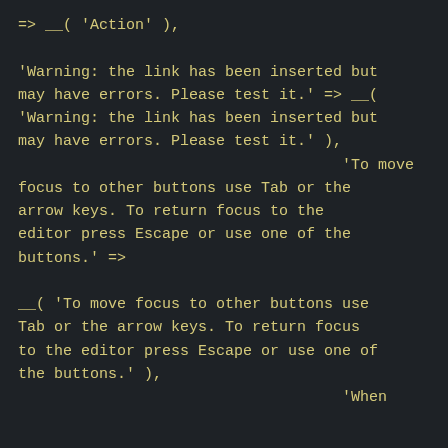=> __( 'Action' ),

'Warning: the link has been inserted but may have errors. Please test it.' => __( 'Warning: the link has been inserted but may have errors. Please test it.' ),
                                    'To move focus to other buttons use Tab or the arrow keys. To return focus to the editor press Escape or use one of the buttons.' =>

__( 'To move focus to other buttons use Tab or the arrow keys. To return focus to the editor press Escape or use one of the buttons.' ),
                                    'When